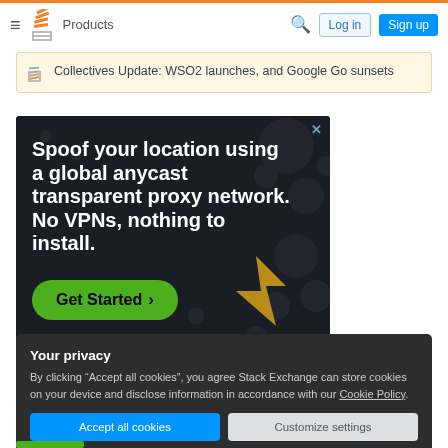≡  [Stack Overflow logo]  Products  [search icon]  Log in  Sign up
Collectives Update: WSO2 launches, and Google Go sunsets
[Figure (screenshot): Advertisement banner with dark background and decorative dots. Text reads: 'Spoof your location using a global anycast transparent proxy network. No VPNs, nothing to install.' with a green 'Get Started >' button.]
Your privacy

By clicking "Accept all cookies", you agree Stack Exchange can store cookies on your device and disclose information in accordance with our Cookie Policy.
Accept all cookies   Customize settings